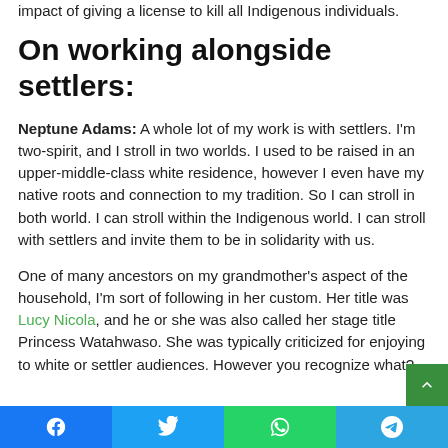impact of giving a license to kill all Indigenous individuals.
On working alongside settlers:
Neptune Adams: A whole lot of my work is with settlers. I'm two-spirit, and I stroll in two worlds. I used to be raised in an upper-middle-class white residence, however I even have my native roots and connection to my tradition. So I can stroll in both world. I can stroll within the Indigenous world. I can stroll with settlers and invite them to be in solidarity with us.
One of many ancestors on my grandmother's aspect of the household, I'm sort of following in her custom. Her title was Lucy Nicola, and he or she was also called her stage title Princess Watahwaso. She was typically criticized for enjoying to white or settler audiences. However you recognize what?
Facebook Twitter WhatsApp Telegram